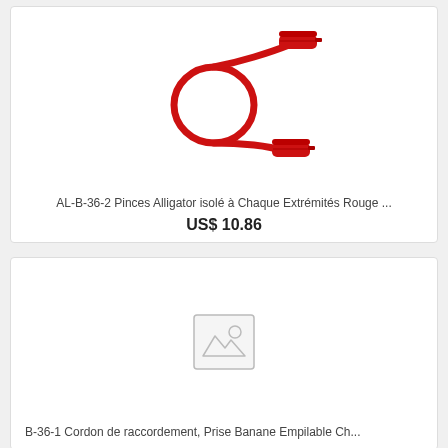[Figure (photo): Red alligator clip test leads with insulated ends, forming a loop shape]
AL-B-36-2 Pinces Alligator isolé à Chaque Extrémités Rouge ...
US$ 10.86
[Figure (photo): Placeholder image icon (missing product photo)]
B-36-1 Cordon de raccordement, Prise Banane Empilable Ch...